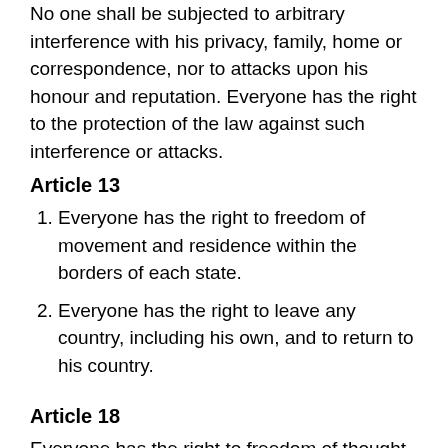No one shall be subjected to arbitrary interference with his privacy, family, home or correspondence, nor to attacks upon his honour and reputation. Everyone has the right to the protection of the law against such interference or attacks.
Article 13
Everyone has the right to freedom of movement and residence within the borders of each state.
Everyone has the right to leave any country, including his own, and to return to his country.
Article 18
Everyone has the right to freedom of thought, conscience and religion; this right includes freedom to change his religion or belief, and freedom, either alone or in community with others and in public or private, to manifest his religion or belief in teaching, practice, worship and observance.
Article 19
Everyone has the right to freedom of opinion and expression; this right includes freedom to hold opinions without